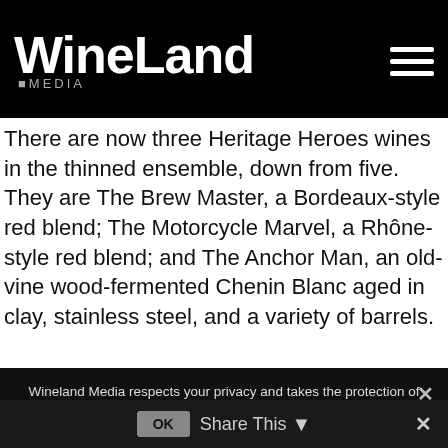WineLand MEDIA
There are now three Heritage Heroes wines in the thinned ensemble, down from five. They are The Brew Master, a Bordeaux-style red blend; The Motorcycle Marvel, a Rhône-style red blend; and The Anchor Man, an old-vine wood-fermented Chenin Blanc aged in clay, stainless steel, and a variety of barrels.
“Streamlining helps us to concentrate on really excelling where we’ve proved we can, rather than trying to do everything. Our aim is to
Wineland Media respects your privacy and takes the protection of your personal data very seriously. Registering with us will allow us to collect and process your personal information, and we need your consent. By accepting you consent to Wineland Media to collect and process my personal information, for purposes of my application.
View Privacy Policy
Share This  ✕